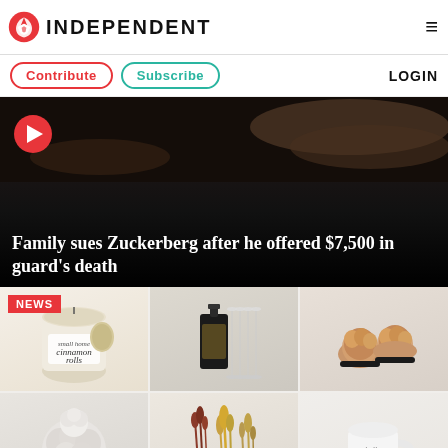INDEPENDENT
Contribute | Subscribe | LOGIN
[Figure (screenshot): Video thumbnail showing dark scene with hands, headline 'Family sues Zuckerberg after he offered $7,500 in guard's death']
Family sues Zuckerberg after he offered $7,500 in guard's death
[Figure (photo): NEWS badge with product grid showing cinnamon rolls candle, perfume bottles, fuzzy slippers, fluffy hat, dried botanicals, and hello fall mug]